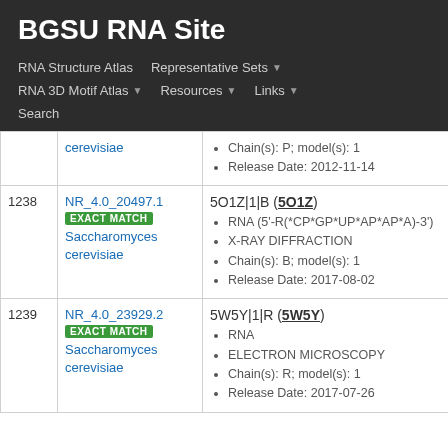BGSU RNA Site
RNA Structure Atlas
Representative Sets
RNA 3D Motif Atlas
Resources
Links
Search
| # | ID | Details |
| --- | --- | --- |
|  | cerevisiae | Chain(s): P; model(s): 1
Release Date: 2012-11-14 |
| 1238 | NR_4.0_20497.1
EXACT MATCH
Saccharomyces cerevisiae | 5O1Z|1|B (5O1Z)
RNA (5'-R(*CP*GP*UP*AP*AP*A)-3')
X-RAY DIFFRACTION
Chain(s): B; model(s): 1
Release Date: 2017-08-02 |
| 1239 | NR_4.0_23929.2
EXACT MATCH
Saccharomyces cerevisiae | 5W5Y|1|R (5W5Y)
RNA
ELECTRON MICROSCOPY
Chain(s): R; model(s): 1
Release Date: 2017-07-26 |